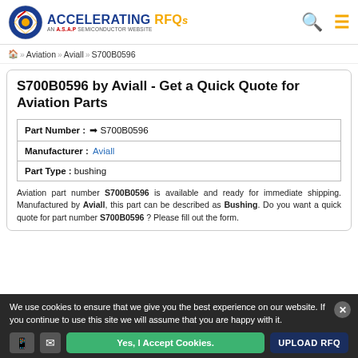ACCELERATING RFQs — AN A.S.A.P SEMICONDUCTOR WEBSITE
Home » Aviation » Aviall » S700B0596
S700B0596 by Aviall - Get a Quick Quote for Aviation Parts
| Part Number : | S700B0596 |
| Manufacturer : | Aviall |
| Part Type : | bushing |
Aviation part number S700B0596 is available and ready for immediate shipping. Manufactured by Aviall, this part can be described as Bushing. Do you want a quick quote for part number S700B0596 ? Please fill out the form.
We use cookies to ensure that we give you the best experience on our website. If you continue to use this site we will assume that you are happy with it.